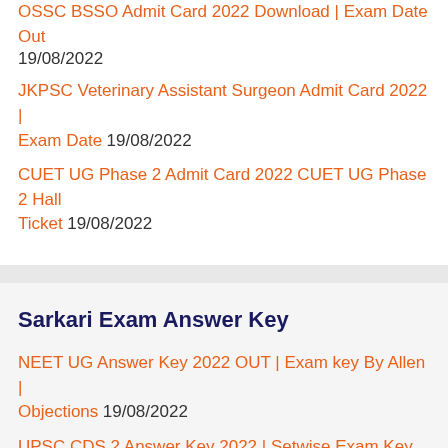OSSC BSSO Admit Card 2022 Download | Exam Date Out 19/08/2022
JKPSC Veterinary Assistant Surgeon Admit Card 2022 | Exam Date 19/08/2022
CUET UG Phase 2 Admit Card 2022 CUET UG Phase 2 Hall Ticket 19/08/2022
Sarkari Exam Answer Key
NEET UG Answer Key 2022 OUT | Exam key By Allen | Objections 19/08/2022
UPSC CDS 2 Answer Key 2022 | Setwise Exam Key, Objection 18/08/2022
SSC Selection Post Phase 10 Answer Key 2022 | Exam Key